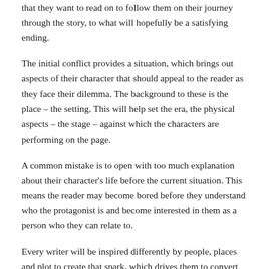that they want to read on to follow them on their journey through the story, to what will hopefully be a satisfying ending.
The initial conflict provides a situation, which brings out aspects of their character that should appeal to the reader as they face their dilemma. The background to these is the place – the setting. This will help set the era, the physical aspects – the stage – against which the characters are performing on the page.
A common mistake is to open with too much explanation about their character's life before the current situation. This means the reader may become bored before they understand who the protagonist is and become interested in them as a person who they can relate to.
Every writer will be inspired differently by people, places and plot to create that spark, which drives them to convert an initial idea into the first gripping page of a novel.